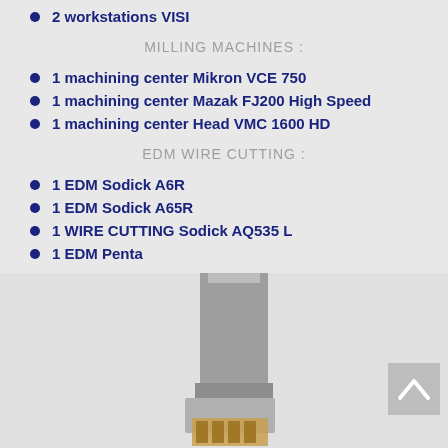2 workstations VISI
MILLING MACHINES :
1 machining center Mikron VCE 750
1 machining center Mazak FJ200 High Speed
1 machining center Head VMC 1600 HD
EDM WIRE CUTTING :
1 EDM Sodick A6R
1 EDM Sodick A65R
1 WIRE CUTTING Sodick AQ535 L
1 EDM Penta
[Figure (photo): Photo of a machining center or EDM machine, showing the metal body and components of industrial manufacturing equipment]